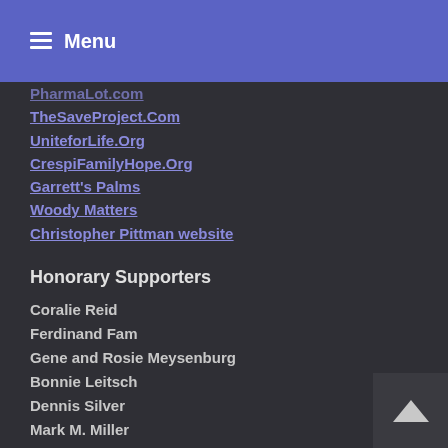Menu
PharmaLot.com
TheSaveProject.Com
UniteforLife.Org
CrespiFamilyHope.Org
Garrett's Palms
Woody Matters
Christopher Pittman website
Honorary Supporters
Coralie Reid
Ferdinand Fam
Gene and Rosie Meysenburg
Bonnie Leitsch
Dennis Silver
Mark M. Miller
Ann Fangio
Pamela V. L. Paseka
Brian Mecham